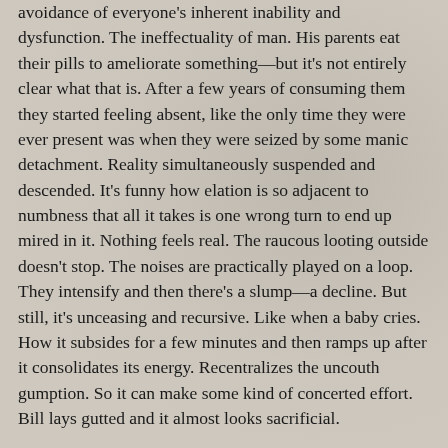avoidance of everyone's inherent inability and dysfunction. The ineffectuality of man. His parents eat their pills to ameliorate something—but it's not entirely clear what that is. After a few years of consuming them they started feeling absent, like the only time they were ever present was when they were seized by some manic detachment. Reality simultaneously suspended and descended. It's funny how elation is so adjacent to numbness that all it takes is one wrong turn to end up mired in it. Nothing feels real. The raucous looting outside doesn't stop. The noises are practically played on a loop. They intensify and then there's a slump—a decline. But still, it's unceasing and recursive. Like when a baby cries. How it subsides for a few minutes and then ramps up after it consolidates its energy. Recentralizes the uncouth gumption. So it can make some kind of concerted effort. Bill lays gutted and it almost looks sacrificial.